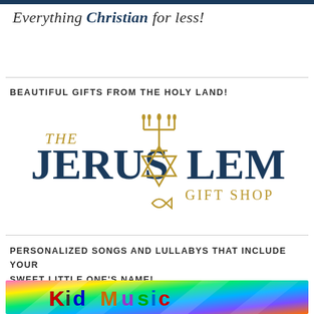[Figure (logo): Blue bar banner at top]
Everything Christian for less!
[Figure (illustration): Horizontal divider line]
BEAUTIFUL GIFTS FROM THE HOLY LAND!
[Figure (logo): The Jerusalem Gift Shop logo with menorah, Star of David, and fish symbol in blue and gold]
[Figure (illustration): Horizontal divider line]
PERSONALIZED SONGS AND LULLABYS THAT INCLUDE YOUR SWEET LITTLE ONE'S NAME!
[Figure (photo): Kid Music colorful banner with rainbow light beams and colorful text reading 'Kid Music']